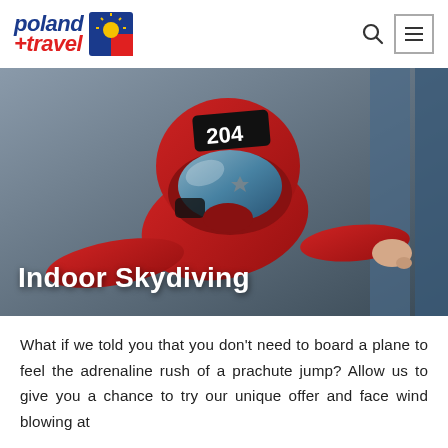[Figure (logo): Poland Travel logo with blue 'poland' and red 'travel' italic text and a sun/circle icon in blue, yellow and red]
[Figure (photo): Person in red jumpsuit and red helmet numbered '204' doing indoor skydiving, viewed from above, arms spread wide]
Indoor Skydiving
What if we told you that you don't need to board a plane to feel the adrenaline rush of a prachute jump? Allow us to give you a chance to try our unique offer and face wind blowing at